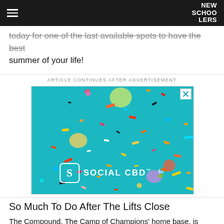NEW SCHOOLERS
today for one of the last available spots to have the best summer of your life!
ARTICLE CONTINUES AFTER ADVERTISEMENT
[Figure (photo): Advertisement image with teal background showing colorful confetti/particles floating, with Social CBD brand logo at the bottom]
So Much To Do After The Lifts Close
The Compound, The Camp of Champions' home base, is